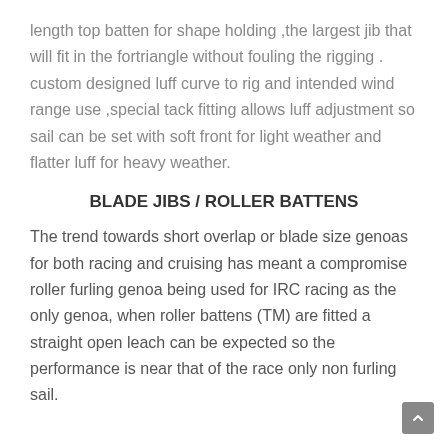length top batten for shape holding ,the largest jib that will fit in the fortriangle without fouling the rigging . custom designed luff curve to rig and intended wind range use ,special tack fitting allows luff adjustment so sail can be set with soft front for light weather and flatter luff for heavy weather.
BLADE JIBS / ROLLER BATTENS
The trend towards short overlap or blade size genoas for both racing and cruising has meant a compromise roller furling genoa being used for IRC racing as the only genoa, when roller battens (TM) are fitted a straight open leach can be expected so the performance is near that of the race only non furling sail.